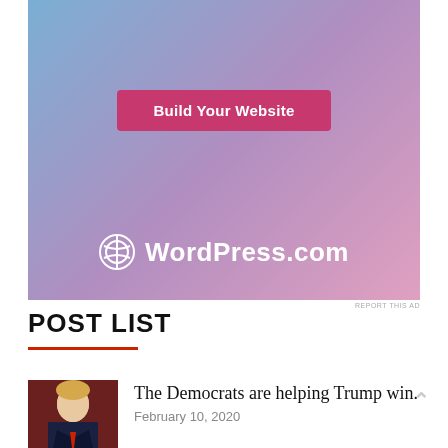[Figure (other): WordPress.com advertisement banner with blue-to-pink gradient background, 'Build Your Website' pink button, and WordPress.com logo at bottom]
REPORT THIS AD
POST LIST
[Figure (photo): Portrait photo of Donald Trump in a dark suit with red tie against dark red background]
The Democrats are helping Trump win.
February 10, 2020